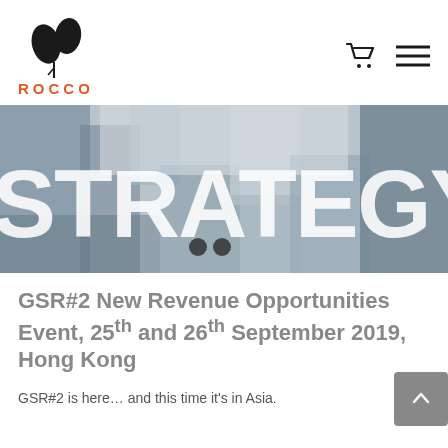[Figure (logo): Rocco brand logo: two teardrop/leaf shapes forming an abstract plant icon above the word ROCCO in orange capital letters]
[Figure (photo): Banner image showing the word STRATEGY in large white bold text overlaid on a blurred background of tangled rope/fabric textures. Two small circular navigation dots appear in the center.]
GSR#2 New Revenue Opportunities Event, 25th and 26th September 2019, Hong Kong
GSR#2 is here... and this time it's in Asia.